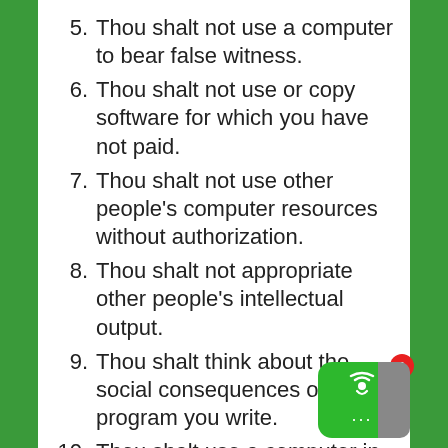5. Thou shalt not use a computer to bear false witness.
6. Thou shalt not use or copy software for which you have not paid.
7. Thou shalt not use other people's computer resources without authorization.
8. Thou shalt not appropriate other people's intellectual output.
9. Thou shalt think about the social consequences of the program you write.
10. Thou shalt use a computer in ways that show consideration